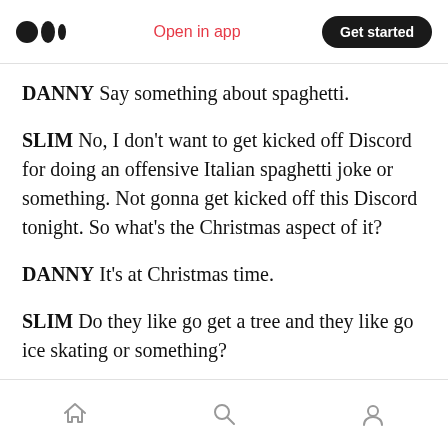Medium app header: Open in app | Get started
DANNY Say something about spaghetti.
SLIM No, I don't want to get kicked off Discord for doing an offensive Italian spaghetti joke or something. Not gonna get kicked off this Discord tonight. So what's the Christmas aspect of it?
DANNY It's at Christmas time.
SLIM Do they like go get a tree and they like go ice skating or something?
DANNY It's at Christmas time.
Bottom navigation bar with home, search, and profile icons